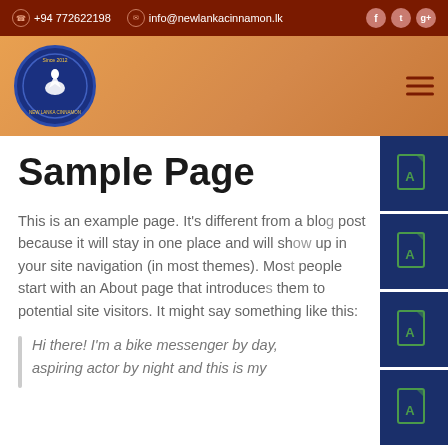+94 772622198   info@newlankacinnamon.lk
[Figure (logo): New Lanka Cinnamon circular logo with bird since 2012]
Sample Page
This is an example page. It's different from a blog post because it will stay in one place and will show up in your site navigation (in most themes). Most people start with an About page that introduces them to potential site visitors. It might say something like this:
Hi there! I'm a bike messenger by day, aspiring actor by night and this is my